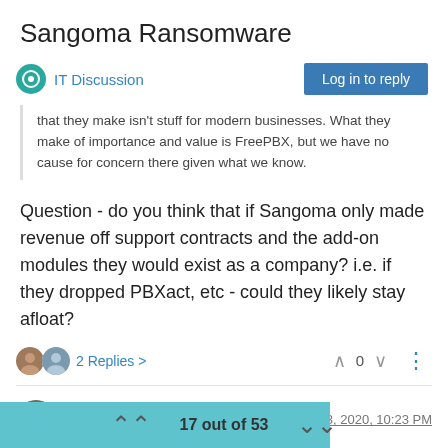Sangoma Ransomware
IT Discussion
Log in to reply
that they make isn't stuff for modern businesses. What they make of importance and value is FreePBX, but we have no cause for concern there given what we know.
Question - do you think that if Sangoma only made revenue off support contracts and the add-on modules they would exist as a company? i.e. if they dropped PBXact, etc - could they likely stay afloat?
2 Replies   0
JaredBusch   Dec 23, 2020, 10:23 PM
@Dashrender said in Sangoma Ransomware:
17 out of 53